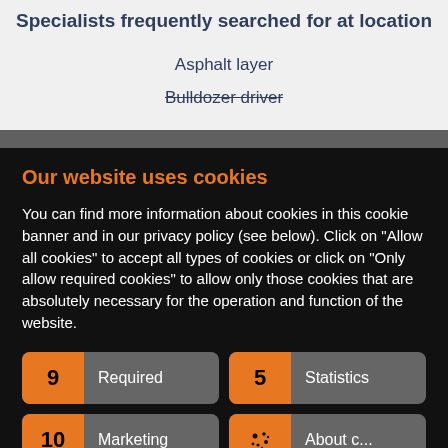Specialists frequently searched for at location
Asphalt layer
Bulldozer driver
Our website uses cookies
You can find more information about cookies in this cookie banner and in our privacy policy (see below). Click on "Allow all cookies" to accept all types of cookies or click on "Only allow required cookies" to allow only those cookies that are absolutely necessary for the operation and function of the website.
9 Required
5 Statistics
10 Marketing
About c...
Privacy ...
Imprint
Only allow required cookies
Allow all cookies